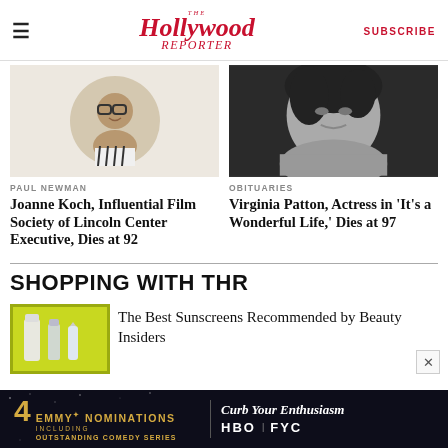The Hollywood Reporter | SUBSCRIBE
[Figure (photo): Circular portrait photo of a woman with glasses smiling]
PAUL NEWMAN
Joanne Koch, Influential Film Society of Lincoln Center Executive, Dies at 92
[Figure (photo): Black and white glamour photo of Virginia Patton actress]
OBITUARIES
Virginia Patton, Actress in 'It's a Wonderful Life,' Dies at 97
SHOPPING WITH THR
[Figure (photo): Sunscreen products photo with yellow-green background]
The Best Sunscreens Recommended by Beauty Insiders
[Figure (other): Emmy Nominations ad banner: 4 Emmy Nominations including Outstanding Comedy Series, Curb Your Enthusiasm, HBO FYC]